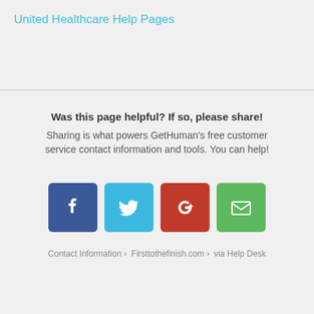United Healthcare Help Pages
Was this page helpful? If so, please share!
Sharing is what powers GetHuman's free customer service contact information and tools. You can help!
[Figure (infographic): Four social sharing buttons: Facebook (blue), Twitter (light blue), Google+ (red), Email (green)]
Contact Information › Firsttothefinish.com › via Help Desk